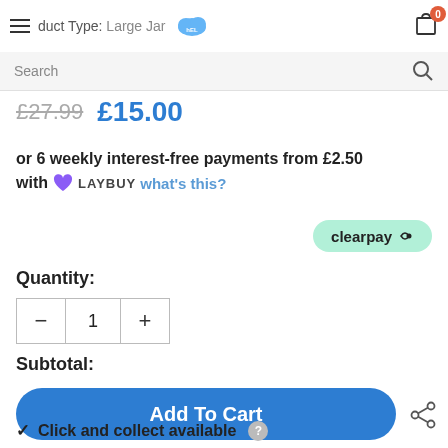Product Type: Large Jar
Search
£27.99  £15.00
or 6 weekly interest-free payments from £2.50 with LAYBUY what's this?
[Figure (logo): Clearpay logo button with mint green rounded rectangle background]
Quantity:
1
Subtotal:
Add To Cart
✓ Click and collect available ?